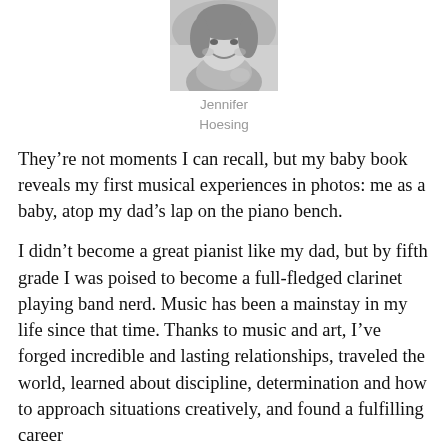[Figure (photo): Black and white headshot photo of Jennifer Hoesing, a young woman smiling]
Jennifer Hoesing
They’re not moments I can recall, but my baby book reveals my first musical experiences in photos: me as a baby, atop my dad’s lap on the piano bench.
I didn’t become a great pianist like my dad, but by fifth grade I was poised to become a full-fledged clarinet playing band nerd. Music has been a mainstay in my life since that time. Thanks to music and art, I’ve forged incredible and lasting relationships, traveled the world, learned about discipline, determination and how to approach situations creatively, and found a fulfilling career